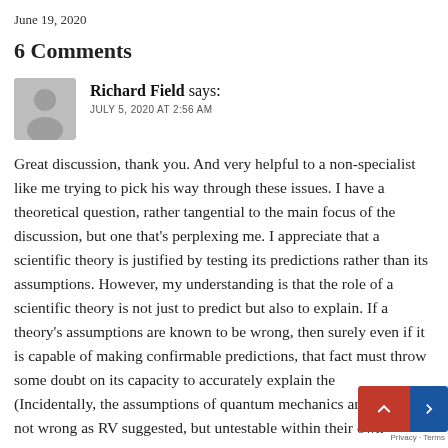June 19, 2020
6 Comments
Richard Field says:
JULY 5, 2020 AT 2:56 AM
Great discussion, thank you. And very helpful to a non-specialist like me trying to pick his way through these issues. I have a theoretical question, rather tangential to the main focus of the discussion, but one that's perplexing me. I appreciate that a scientific theory is justified by testing its predictions rather than its assumptions. However, my understanding is that the role of a scientific theory is not just to predict but also to explain. If a theory's assumptions are known to be wrong, then surely even if it is capable of making confirmable predictions, that fact must throw some doubt on its capacity to accurately explain the... (Incidentally, the assumptions of quantum mechanics are su... not wrong as RV suggested, but untestable within their own